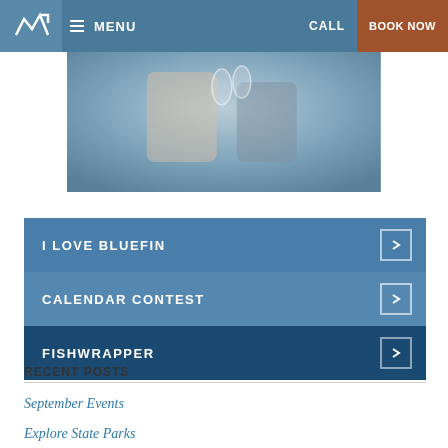MENU | CALL | BOOK NOW
[Figure (photo): Two people clinking wine glasses, wearing knitted/lace clothing outdoors]
I LOVE BLUEFIN
CALENDAR CONTEST
FISHWRAPPER
CONTACT
RECENT POSTS
September Events
Explore State Parks